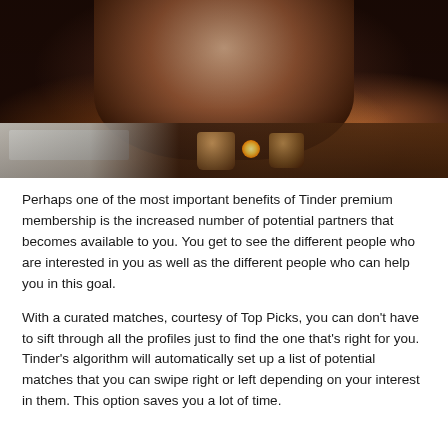[Figure (photo): A person sitting at a table in a dimly lit setting, with mugs and a glowing light on the table, and a screen visible to the left.]
Perhaps one of the most important benefits of Tinder premium membership is the increased number of potential partners that becomes available to you. You get to see the different people who are interested in you as well as the different people who can help you in this goal.
With a curated matches, courtesy of Top Picks, you can don't have to sift through all the profiles just to find the one that's right for you. Tinder's algorithm will automatically set up a list of potential matches that you can swipe right or left depending on your interest in them. This option saves you a lot of time.